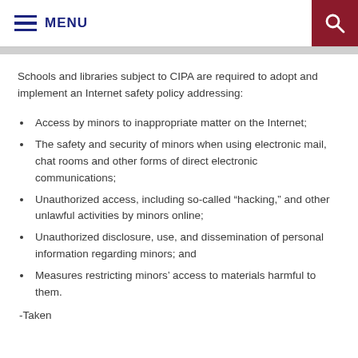MENU
Schools and libraries subject to CIPA are required to adopt and implement an Internet safety policy addressing:
Access by minors to inappropriate matter on the Internet;
The safety and security of minors when using electronic mail, chat rooms and other forms of direct electronic communications;
Unauthorized access, including so-called “hacking,” and other unlawful activities by minors online;
Unauthorized disclosure, use, and dissemination of personal information regarding minors; and
Measures restricting minors’ access to materials harmful to them.
-Taken